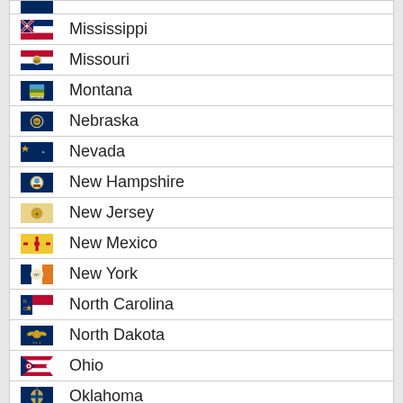Mississippi
Missouri
Montana
Nebraska
Nevada
New Hampshire
New Jersey
New Mexico
New York
North Carolina
North Dakota
Ohio
Oklahoma
Oregon